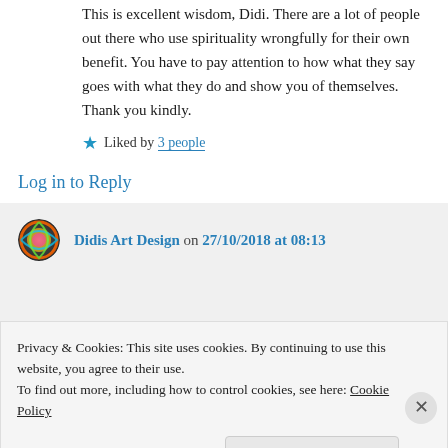This is excellent wisdom, Didi. There are a lot of people out there who use spirituality wrongfully for their own benefit. You have to pay attention to how what they say goes with what they do and show you of themselves. Thank you kindly.
★ Liked by 3 people
Log in to Reply
Didis Art Design on 27/10/2018 at 08:13
Privacy & Cookies: This site uses cookies. By continuing to use this website, you agree to their use.
To find out more, including how to control cookies, see here: Cookie Policy
Close and accept